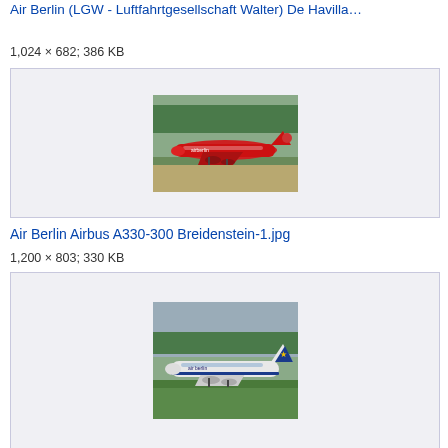Air Berlin (LGW - Luftfahrtgesellschaft Walter) De Havilla…
1,024 × 682; 386 KB
[Figure (photo): Air Berlin Airbus A330-300 red aircraft on runway, Breidenstein-1]
Air Berlin Airbus A330-300 Breidenstein-1.jpg
1,200 × 803; 330 KB
[Figure (photo): Air Berlin aircraft (white/blue livery, star on tail) on runway taxiing]